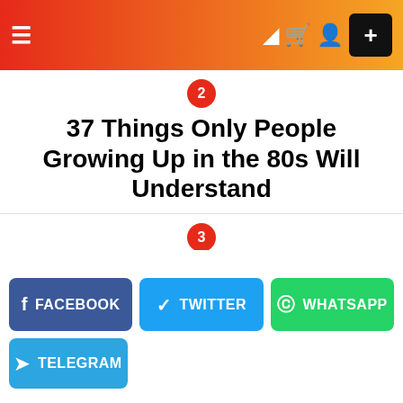Navigation header with hamburger menu, icons, and plus button
2 — 37 Things Only People Growing Up in the 80s Will Understand
3 — Sometimes You Gotta Let Them Breathe
4 — This Dude Was Beaten On His Wedding Night By His Wife
5 — (partially visible)
[Figure (screenshot): Social sharing buttons: Facebook, Twitter, WhatsApp, Telegram]